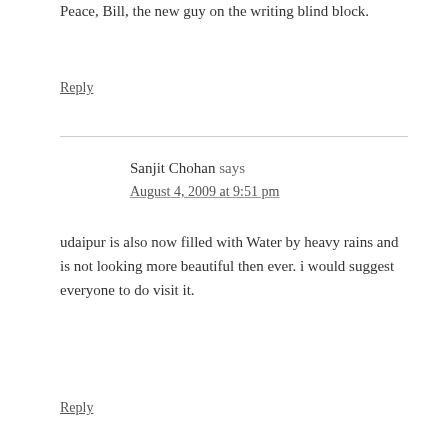Peace, Bill, the new guy on the writing blind block.
Reply
Sanjit Chohan says
August 4, 2009 at 9:51 pm
udaipur is also now filled with Water by heavy rains and is not looking more beautiful then ever. i would suggest everyone to do visit it.
Reply